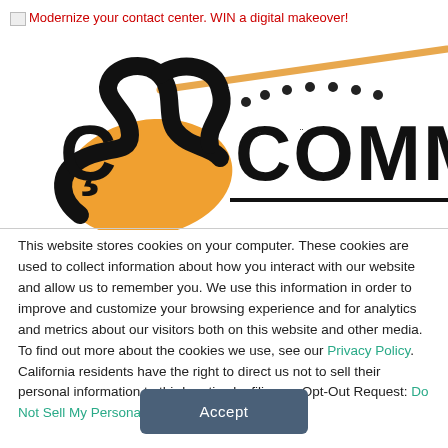Modernize your contact center. WIN a digital makeover!
[Figure (logo): eCommerce/eCOMMERCE logo with orange swoosh/snake graphic and bold COMMERCE lettering with dots above letters]
This website stores cookies on your computer. These cookies are used to collect information about how you interact with our website and allow us to remember you. We use this information in order to improve and customize your browsing experience and for analytics and metrics about our visitors both on this website and other media. To find out more about the cookies we use, see our Privacy Policy. California residents have the right to direct us not to sell their personal information to third parties by filing an Opt-Out Request: Do Not Sell My Personal Info.
Accept